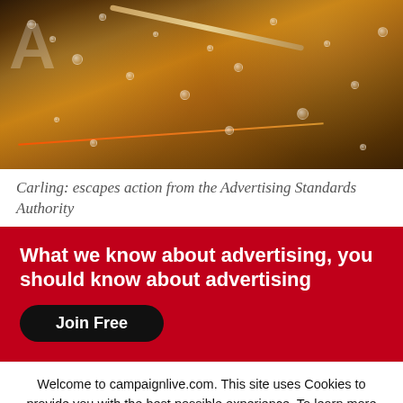[Figure (photo): Close-up photo of a condensation-covered beer can or glass with a diagonal orange/red streak and a gold straw, dark amber tones with water droplets and partial logo text visible]
Carling: escapes action from the Advertising Standards Authority
What we know about advertising, you should know about advertising
Join Free
Welcome to campaignlive.com. This site uses Cookies to provide you with the best possible experience. To learn more please view our Cookie Notice.
Close